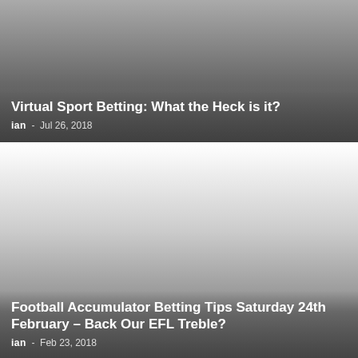[Figure (photo): Article card with grey gradient background for 'Virtual Sport Betting: What the Heck is it?']
Virtual Sport Betting: What the Heck is it?
ian - Jul 26, 2018
[Figure (photo): Article card with light to dark grey gradient background for 'Football Accumulator Betting Tips Saturday 24th February – Back Our EFL Treble?']
Football Accumulator Betting Tips Saturday 24th February – Back Our EFL Treble?
ian - Feb 23, 2018